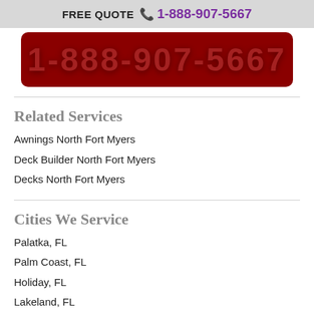FREE QUOTE 1-888-907-5667
[Figure (other): Dark red rounded banner with large partially visible phone number text '1-888-907-5667']
Related Services
Awnings North Fort Myers
Deck Builder North Fort Myers
Decks North Fort Myers
Cities We Service
Palatka, FL
Palm Coast, FL
Holiday, FL
Lakeland, FL
Lehigh Acres, FL
Starke, FL
[Figure (other): Blue rounded banner at bottom]